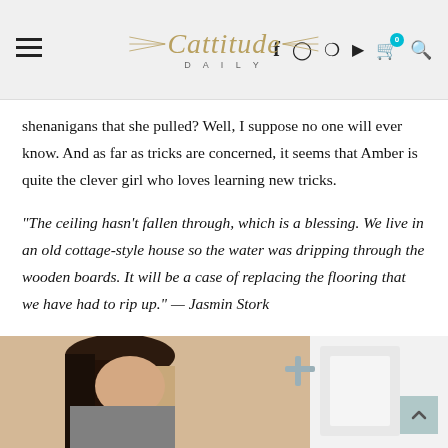Cattitude Daily
shenanigans that she pulled? Well, I suppose no one will ever know. And as far as tricks are concerned, it seems that Amber is quite the clever girl who loves learning new tricks.
“The ceiling hasn’t fallen through, which is a blessing. We live in an old cottage-style house so the water was dripping through the wooden boards. It will be a case of replacing the flooring that we have had to rip up.” — Jasmin Stork
Perhaps next time, which hopefully isn’t the case, Amber will think to turn the water off...or her humans will think to close the door tight to prevent the floodgates from occurring once more.
[Figure (photo): Partial photo of a person (woman with dark hair) leaning over, visible from top of page bottom area, with a white object visible to the right.]